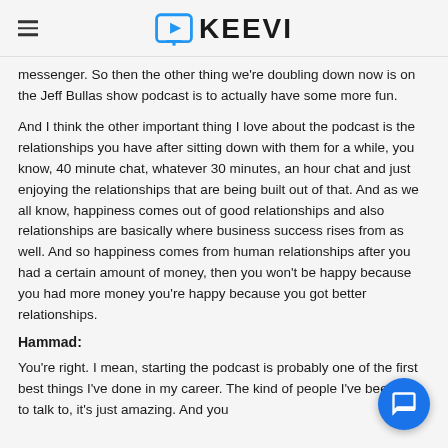KEEVI
messenger. So then the other thing we're doubling down now is on the Jeff Bullas show podcast is to actually have some more fun.
And I think the other important thing I love about the podcast is the relationships you have after sitting down with them for a while, you know, 40 minute chat, whatever 30 minutes, an hour chat and just enjoying the relationships that are being built out of that. And as we all know, happiness comes out of good relationships and also relationships are basically where business success rises from as well. And so happiness comes from human relationships after you had a certain amount of money, then you won't be happy because you had more money you're happy because you got better relationships.
Hammad:
You're right. I mean, starting the podcast is probably one of the first best things I've done in my career. The kind of people I've been able to talk to, it's just amazing. And you